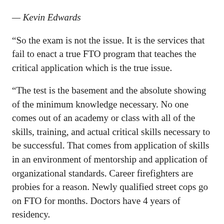— Kevin Edwards
“So the exam is not the issue. It is the services that fail to enact a true FTO program that teaches the critical application which is the true issue.
“The test is the basement and the absolute showing of the minimum knowledge necessary. No one comes out of an academy or class with all of the skills, training, and actual critical skills necessary to be successful. That comes from application of skills in an environment of mentorship and application of organizational standards. Career firefighters are probies for a reason. Newly qualified street cops go on FTO for months. Doctors have 4 years of residency.
“All of these programs and academys come with skills evaluations that are memorized to pass a test. That